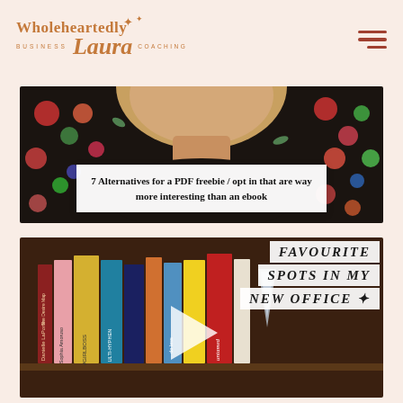[Figure (logo): Wholeheartedly Laura Business Coaching logo with decorative stars in terracotta/orange color]
[Figure (photo): Photo of a woman in a floral dress with white overlay text box reading: 7 Alternatives for a PDF freebie / opt in that are way more interesting than an ebook]
[Figure (photo): Photo of a bookshelf with books including untamed, do less, #GIRLBOSS, ULTI-HYPHEN, with text overlay reading: FAVOURITE SPOTS IN MY NEW OFFICE with sparkle emoji and play button]